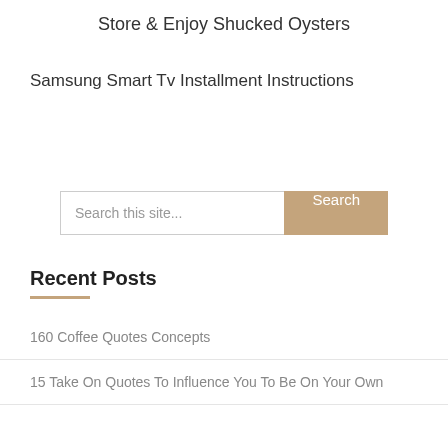Store & Enjoy Shucked Oysters
Samsung Smart Tv Installment Instructions
Search this site...
Recent Posts
160 Coffee Quotes Concepts
15 Take On Quotes To Influence You To Be On Your Own